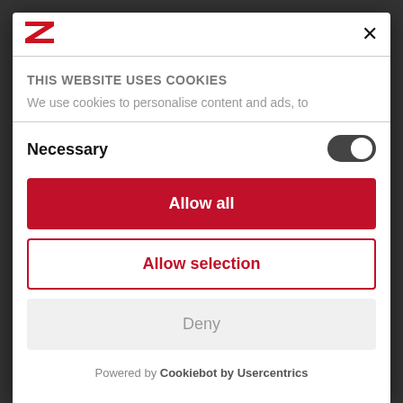[Figure (logo): Red Z logo in top left of modal header]
×
THIS WEBSITE USES COOKIES
We use cookies to personalise content and ads, to
Necessary
[Figure (other): Toggle switch in ON/dark state]
Allow all
Allow selection
Deny
Powered by Cookiebot by Usercentrics